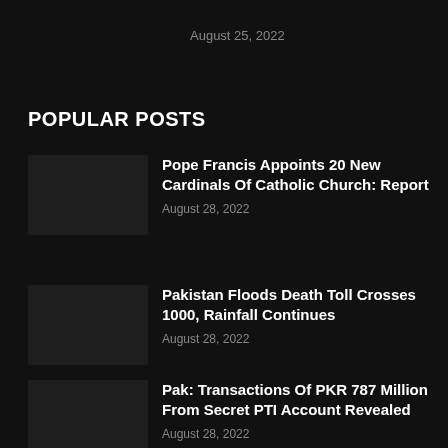August 25, 2022
POPULAR POSTS
Pope Francis Appoints 20 New Cardinals Of Catholic Church: Report
August 28, 2022
Pakistan Floods Death Toll Crosses 1000, Rainfall Continues
August 28, 2022
Pak: Transactions Of PKR 787 Million From Secret PTI Account Revealed
August 28, 2022